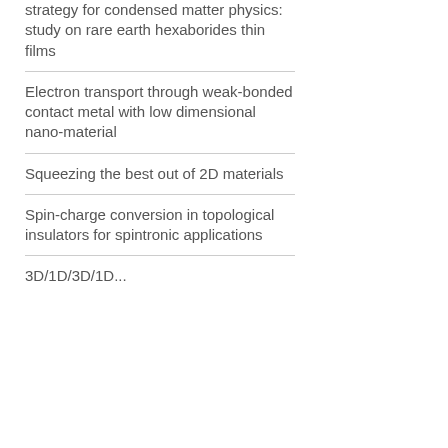strategy for condensed matter physics: study on rare earth hexaborides thin films
Electron transport through weak-bonded contact metal with low dimensional nano-material
Squeezing the best out of 2D materials
Spin-charge conversion in topological insulators for spintronic applications
3D/1D/3D/1D...